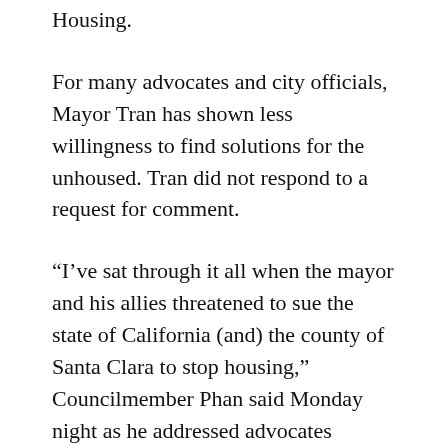Housing.
For many advocates and city officials, Mayor Tran has shown less willingness to find solutions for the unhoused. Tran did not respond to a request for comment.
“I’ve sat through it all when the mayor and his allies threatened to sue the state of California (and) the county of Santa Clara to stop housing,” Councilmember Phan said Monday night as he addressed advocates outside City Hall.
In 2020, Tran threatened to sue California and the county over a Project HomeKey proposal that aimed to convert a Milpitas motel, Extended Stay America, into